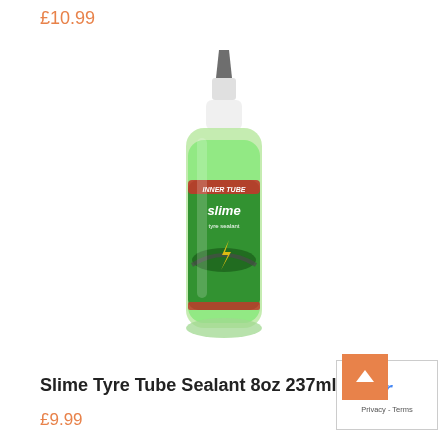£10.99
[Figure (photo): A bottle of Slime Tyre Tube Sealant 8oz 237ml. The bottle is transparent showing bright green liquid inside, with a black pointed nozzle cap on top. The label is green with red accents and features the Slime brand logo and tyre sealant branding.]
Slime Tyre Tube Sealant 8oz 237ml
£9.99